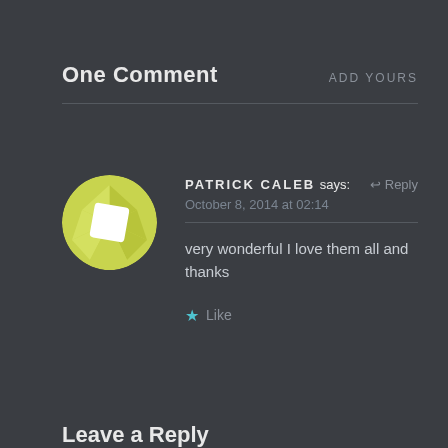One Comment
ADD YOURS
PATRICK CALEB says:
October 8, 2014 at 02:14
↩ Reply
very wonderful I love them all and thanks
★ Like
Leave a Reply